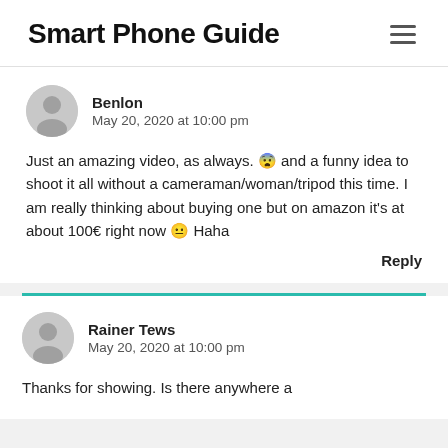Smart Phone Guide
Benlon
May 20, 2020 at 10:00 pm
Just an amazing video, as always. 😨 and a funny idea to shoot it all without a cameraman/woman/tripod this time. I am really thinking about buying one but on amazon it's at about 100€ right now 😐 Haha
Reply
Rainer Tews
May 20, 2020 at 10:00 pm
Thanks for showing. Is there anywhere a